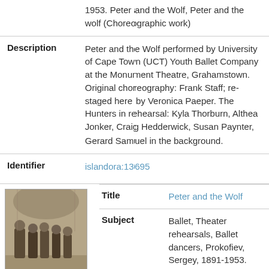1953. Peter and the Wolf, Peter and the wolf (Choreographic work)
| Field | Value |
| --- | --- |
| Description | Peter and the Wolf performed by University of Cape Town (UCT) Youth Ballet Company at the Monument Theatre, Grahamstown. Original choreography: Frank Staff; re-staged here by Veronica Paeper. The Hunters in rehearsal: Kyla Thorburn, Althea Jonker, Craig Hedderwick, Susan Paynter, Gerard Samuel in the background. |
| Identifier | islandora:13695 |
| Title | Peter and the Wolf |
| Subject | Ballet, Theater rehearsals, Ballet dancers, Prokofiev, Sergey, 1891-1953. Peter and the Wolf, Peter and the wolf (Choreographic work) |
| Description | Peter and the Wolf performed by |